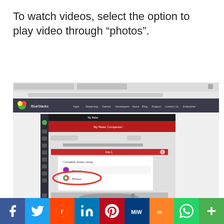To watch videos, select the option to play video through “photos”.
[Figure (screenshot): Screenshot of BlueStacks emulator in a Chrome browser window, showing an Android app with a dialog box to complete an action using 'Movies' or 'Photos'. The 'Photos' option is circled in red.]
[Figure (infographic): Social media sharing bar with icons for Facebook, Twitter, Reddit, LinkedIn, Pinterest, MeWe, Mix, WhatsApp, and More (plus sign).]